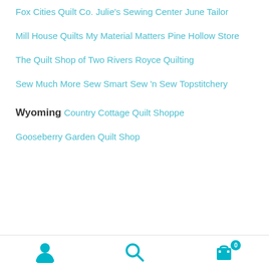Fox Cities Quilt Co.
Julie's Sewing Center
June Tailor
Mill House Quilts
My Material Matters
Pine Hollow Store
The Quilt Shop of Two Rivers
Royce Quilting
Sew Much More
Sew Smart
Sew 'n Sew
Topstitchery
Wyoming
Country Cottage Quilt Shoppe
Gooseberry Garden Quilt Shop
navigation bar with user, search, and cart icons